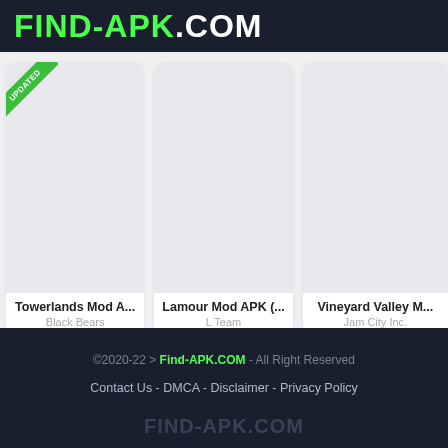FIND-APK.COM
[Figure (screenshot): Three app cards with placeholder gray images. First card has an 'UPDATED' green diagonal badge. Card titles: Towerlands Mod A..., Lamour Mod APK (..., Vineyard Valley M... Authors: Black Bears, L Team, Jam City Inc.]
©2020-22 > Find-APK.COM - All Right Reserved
Contact Us - DMCA - Disclaimer - Privacy Policy
FIND-APK.COM